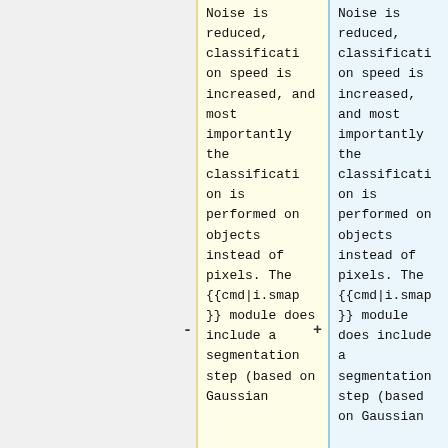Noise is reduced, classification speed is increased, and most importantly the classification is performed on objects instead of pixels. The {{cmd|i.smap}} module does include a segmentation step (based on Gaussian
Noise is reduced, classification speed is increased, and most importantly the classification is performed on objects instead of pixels. The {{cmd|i.smap}} module does include a segmentation step (based on Gaussian